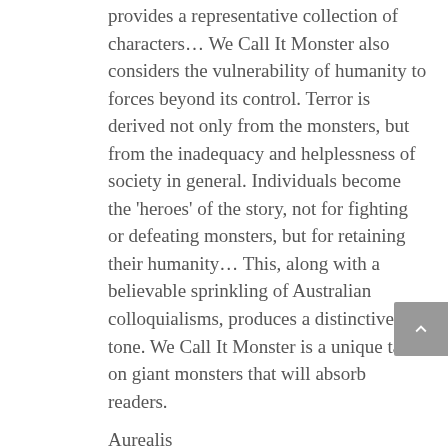provides a representative collection of characters… We Call It Monster also considers the vulnerability of humanity to forces beyond its control. Terror is derived not only from the monsters, but from the inadequacy and helplessness of society in general. Individuals become the 'heroes' of the story, not for fighting or defeating monsters, but for retaining their humanity… This, along with a believable sprinkling of Australian colloquialisms, produces a distinctive tone. We Call It Monster is a unique take on giant monsters that will absorb readers.
Aurealis
Book Review
We Call It Monster is firmly embedded in the kaiju tradition—giant creatures battling humanity and each other, crawling out of deep places and into sunlight. They're fascinating to read about, these monsters… This is world-changing stuff, world